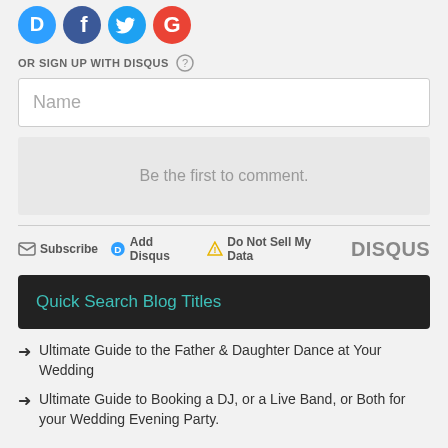[Figure (logo): Social login icons: Disqus (blue speech bubble D), Facebook (blue F circle), Twitter (blue bird circle), Google (red G circle)]
OR SIGN UP WITH DISQUS ?
Name
Be the first to comment.
Subscribe  Add Disqus  Do Not Sell My Data  DISQUS
Quick Search Blog Titles
Ultimate Guide to the Father & Daughter Dance at Your Wedding
Ultimate Guide to Booking a DJ, or a Live Band, or Both for your Wedding Evening Party.